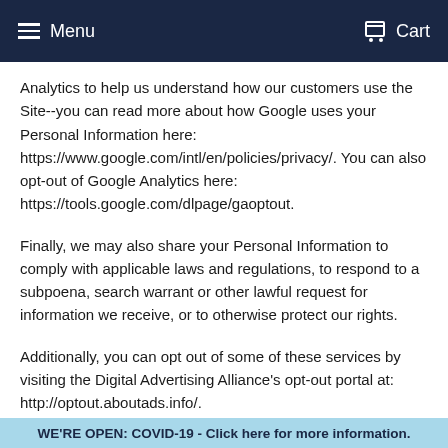Menu  Cart
Analytics to help us understand how our customers use the Site--you can read more about how Google uses your Personal Information here: https://www.google.com/intl/en/policies/privacy/. You can also opt-out of Google Analytics here: https://tools.google.com/dlpage/gaoptout.
Finally, we may also share your Personal Information to comply with applicable laws and regulations, to respond to a subpoena, search warrant or other lawful request for information we receive, or to otherwise protect our rights.
Additionally, you can opt out of some of these services by visiting the Digital Advertising Alliance's opt-out portal at: http://optout.aboutads.info/.
DO NOT TRACK
Please note that we do not alter our Site's data collection and
WE'RE OPEN: COVID-19 - Click here for more information.